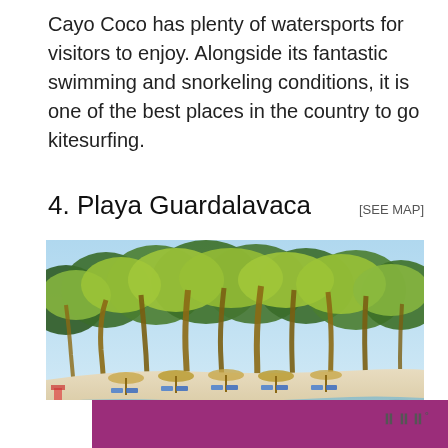Cayo Coco has plenty of watersports for visitors to enjoy. Alongside its fantastic swimming and snorkeling conditions, it is one of the best places in the country to go kitesurfing.
4. Playa Guardalavaca [SEE MAP]
[Figure (photo): A tropical beach scene with tall palm trees lining a white sandy beach, blue lounge chairs and thatched umbrellas visible, calm turquoise water in the foreground, and a clear sky above.]